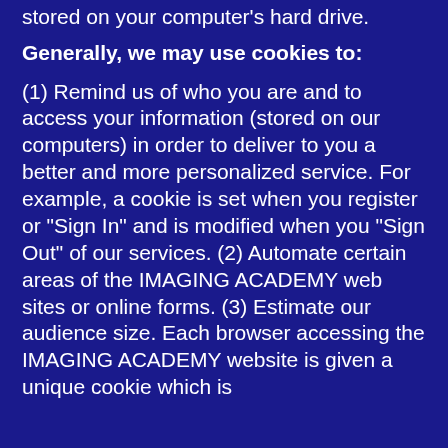stored on your computer's hard drive.
Generally, we may use cookies to:
(1) Remind us of who you are and to access your information (stored on our computers) in order to deliver to you a better and more personalized service. For example, a cookie is set when you register or "Sign In" and is modified when you "Sign Out" of our services. (2) Automate certain areas of the IMAGING ACADEMY web sites or online forms. (3) Estimate our audience size. Each browser accessing the IMAGING ACADEMY website is given a unique cookie which is